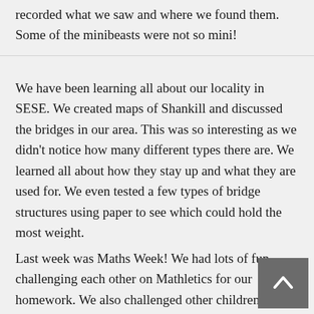recorded what we saw and where we found them. Some of the minibeasts were not so mini!
We have been learning all about our locality in SESE. We created maps of Shankill and discussed the bridges in our area. This was so interesting as we didn't notice how many different types there are. We learned all about how they stay up and what they are used for. We even tested a few types of bridge structures using paper to see which could hold the most weight.
Last week was Maths Week! We had lots of fun challenging each other on Mathletics for our homework. We also challenged other children in the school and around the world! We discovered